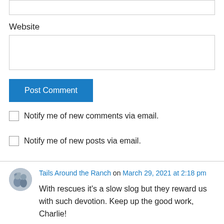Website
Post Comment
Notify me of new comments via email.
Notify me of new posts via email.
Tails Around the Ranch on March 29, 2021 at 2:18 pm
With rescues it's a slow slog but they reward us with such devotion. Keep up the good work, Charlie!